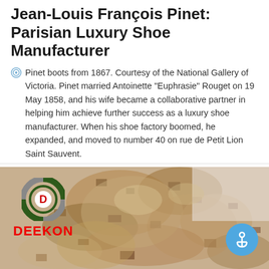Jean-Louis François Pinet: Parisian Luxury Shoe Manufacturer
Pinet boots from 1867. Courtesy of the National Gallery of Victoria. Pinet married Antoinette "Euphrasie" Rouget on 19 May 1858, and his wife became a collaborative partner in helping him achieve further success as a luxury shoe manufacturer. When his shoe factory boomed, he expanded, and moved to number 40 on rue de Petit Lion Saint Sauvent.
[Figure (photo): A photo of camouflage military gear/fabric piled up, with the DEEKON brand logo (circular emblem and red wordmark) in the upper left, and a blue anchor button in the lower right corner.]